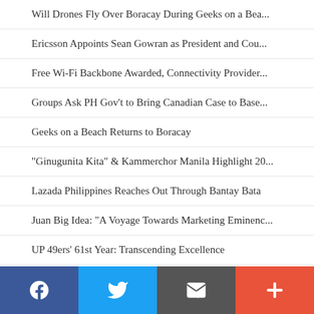Will Drones Fly Over Boracay During Geeks on a Bea...
Ericsson Appoints Sean Gowran as President and Cou...
Free Wi-Fi Backbone Awarded, Connectivity Provider...
Groups Ask PH Gov't to Bring Canadian Case to Base...
Geeks on a Beach Returns to Boracay
"Ginugunita Kita" & Kammerchor Manila Highlight 20...
Lazada Philippines Reaches Out Through Bantay Bata
Juan Big Idea: "A Voyage Towards Marketing Eminenc...
UP 49ers' 61st Year: Transcending Excellence
James Reid and Nadine Lustre: About to Fly High Wi...
DOST Hybrid Road Train: Possible Solution to Traff...
Metro Online Influencers Kapihan: Shaping Business...
[Figure (other): Social sharing footer bar with Facebook, Twitter, Email/RSS, and Plus buttons]